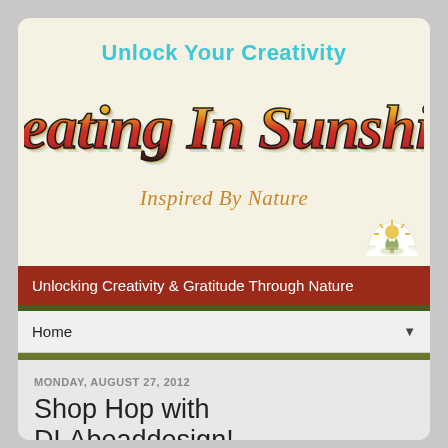[Figure (logo): Creating In Sunshine blog header banner with 'Unlock Your Creativity' in teal, 'Creating In Sunshine' in retro multicolor script, 'Inspired By Nature' in orange italic, and a sun logo in bottom right corner]
Unlocking Creativity & Gratitude Through Nature
Home
MONDAY, AUGUST 27, 2012
Shop Hop with DLAbeaddesign!